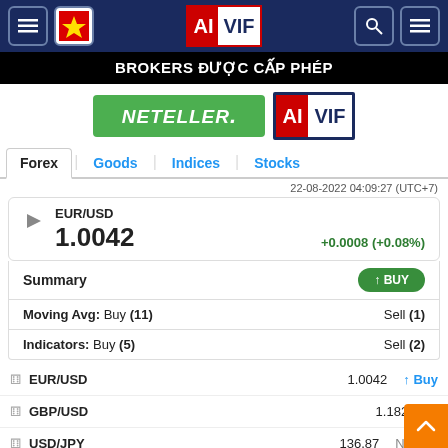AIVIF — Navigation header with menu, flag, logo, search, menu icons
BROKERS ĐƯỢC CẤP PHÉP
[Figure (logo): NETELLER logo (green background, white italic text) and AIVIF logo (red/white/blue) side by side]
Forex | Goods | Indices | Stocks
22-08-2022 04:09:27 (UTC+7)
| Pair | Price | Change |
| --- | --- | --- |
| EUR/USD | 1.0042 | +0.0008 (+0.08%) |
| Summary |  | ↑ BUY |
| --- | --- | --- |
| Moving Avg: Buy (11) |  | Sell (1) |
| Indicators: Buy (5) |  | Sell (2) |
| Pair | Price | Action |
| --- | --- | --- |
| EUR/USD | 1.0042 | ↑ Buy |
| GBP/USD | 1.1822 | ↑ |
| USD/JPY | 136.87 | Neutral |